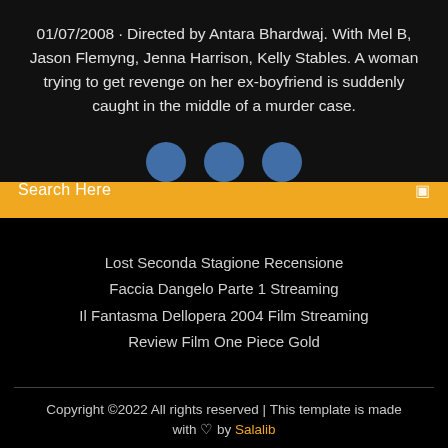01/07/2008 · Directed by Antara Bhardwaj. With Mel B, Jason Flemyng, Jenna Harrison, Kelly Stables. A woman trying to get revenge on her ex-boyfriend is suddenly caught in the middle of a murder case.
[Figure (other): Three partially visible blue avatar/profile circle icons in a row]
Search Here
Lost Seconda Stagione Recensione
Faccia Dangelo Parte 1 Streaming
Il Fantasma Dellopera 2004 Film Streaming
Review Film One Piece Gold
Copyright ©2022 All rights reserved | This template is made with ♡ by Salalib